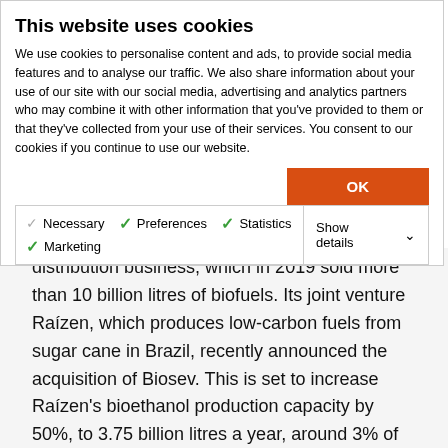This website uses cookies
We use cookies to personalise content and ads, to provide social media features and to analyse our traffic. We also share information about your use of our site with our social media, advertising and analytics partners who may combine it with other information that you've provided to them or that they've collected from your use of their services. You consent to our cookies if you continue to use our website.
OK
Necessary  Preferences  Statistics  Marketing  Show details
distribution business, which in 2019 sold more than 10 billion litres of biofuels. Its joint venture Raízen, which produces low-carbon fuels from sugar cane in Brazil, recently announced the acquisition of Biosev. This is set to increase Raízen's bioethanol production capacity by 50%, to 3.75 billion litres a year, around 3% of global production.